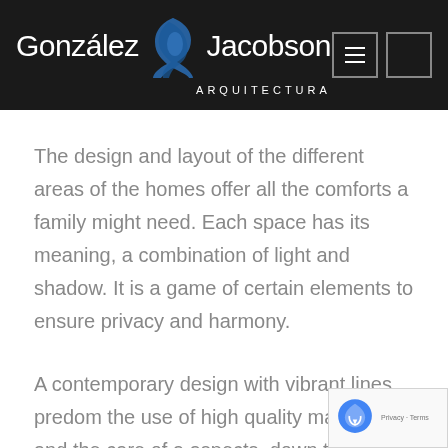[Figure (logo): González & Jacobson Arquitectura logo on black header background with blue decorative ampersand icon and navigation buttons]
The design and layout of the different areas of the homes offer all the comforts a family might need. Each space has its meaning, a combination of light and shadow. It is a game of certain elements to ensure privacy and harmony.
A contemporary design with vibrant lines predom… the use of high quality materials and the care of a… aspects, down to the smallest detail, make El Pernet…